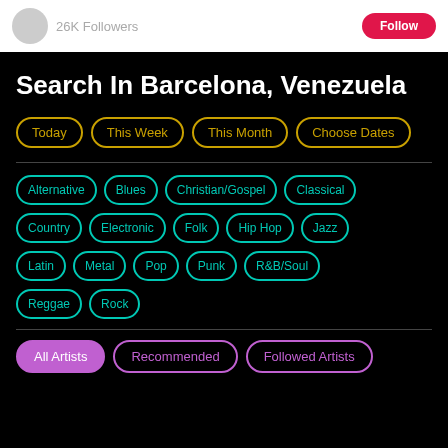26K Followers
Search In Barcelona, Venezuela
Today | This Week | This Month | Choose Dates
Alternative | Blues | Christian/Gospel | Classical
Country | Electronic | Folk | Hip Hop | Jazz
Latin | Metal | Pop | Punk | R&B/Soul
Reggae | Rock
All Artists | Recommended | Followed Artists